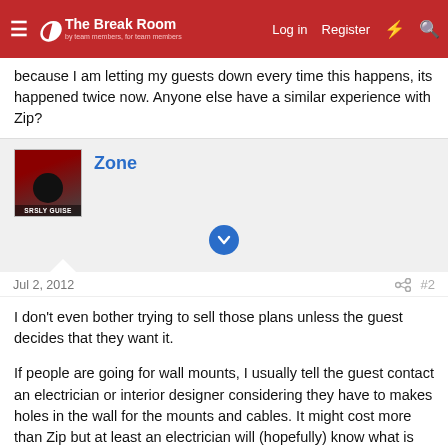The Break Room | Log in | Register
because I am letting my guests down every time this happens, its happened twice now. Anyone else have a similar experience with Zip?
Zone
Jul 2, 2012  #2
I don't even bother trying to sell those plans unless the guest decides that they want it.

If people are going for wall mounts, I usually tell the guest contact an electrician or interior designer considering they have to makes holes in the wall for the mounts and cables. It might cost more than Zip but at least an electrician will (hopefully) know what is going on.